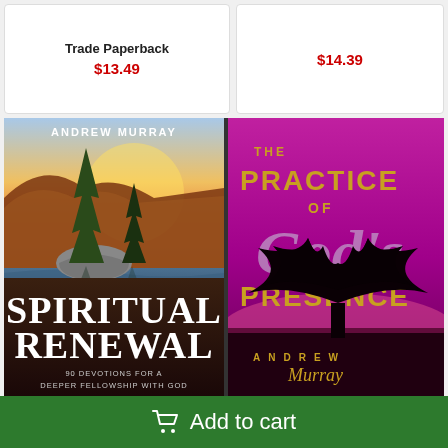Trade Paperback
$13.49
$14.39
[Figure (photo): Book cover: Spiritual Renewal - 90 Devotions for a Deeper Fellowship with God by Andrew Murray. Shows a mountain lake scene with tall pine trees on a rocky island, glowing sunset orange/gold light on autumn hills. Lower portion has dark brown/black band with large white serif text 'SPIRITUAL RENEWAL' and subtitle '90 DEVOTIONS FOR A DEEPER FELLOWSHIP WITH GOD'.]
[Figure (photo): Book cover: The Practice of God's Presence by Andrew Murray. Purple/magenta gradient background with large gold serif text 'THE PRACTICE OF' at top, large stylized cursive silver/white 'God's' overlapping, gold serif 'PRESENCE' below. Silhouette of a large spreading oak tree. Author name 'ANDREW Murray' in spaced gold and script letters at bottom.]
Add to cart